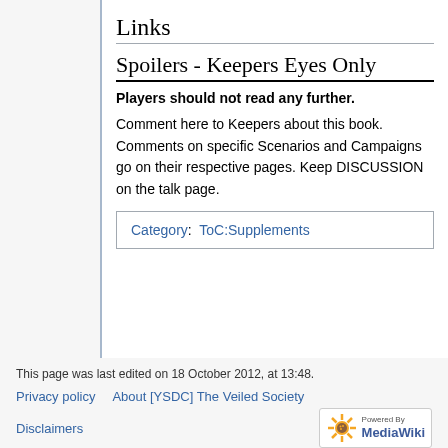Links
Spoilers - Keepers Eyes Only
Players should not read any further.
Comment here to Keepers about this book. Comments on specific Scenarios and Campaigns go on their respective pages. Keep DISCUSSION on the talk page.
| Category: | ToC:Supplements |
This page was last edited on 18 October 2012, at 13:48.
Privacy policy   About [YSDC] The Veiled Society
Disclaimers